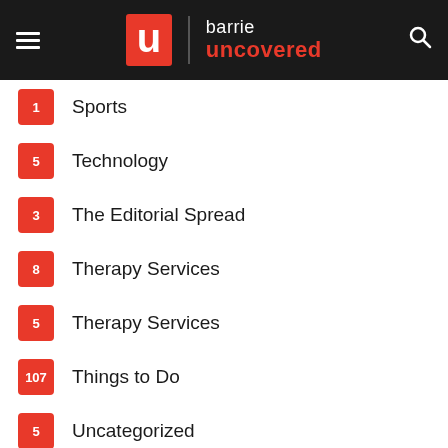barrie uncovered
1 Sports
5 Technology
3 The Editorial Spread
8 Therapy Services
5 Therapy Services
107 Things to Do
5 Uncategorized
21 Uncover The Music
129 Uncovered
18 Uncovered Businesses
94 Videos/Podcasts
1 Wedding Dresses